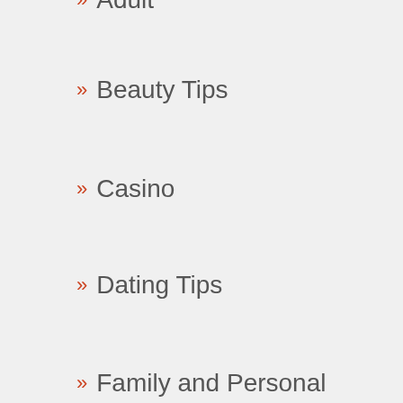» Adult
» Beauty Tips
» Casino
» Dating Tips
» Family and Personal
» Health
» Home Decoration
» Love Stories
» Marriage Advice
» Men